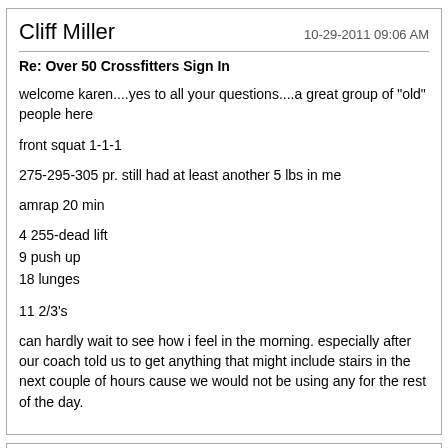Cliff Miller | 10-29-2011 09:06 AM
Re: Over 50 Crossfitters Sign In
welcome karen....yes to all your questions....a great group of "old" people here
front squat 1-1-1
275-295-305 pr. still had at least another 5 lbs in me
amrap 20 min
4 255-dead lift
9 push up
18 lunges
11 2/3's
can hardly wait to see how i feel in the morning. especially after our coach told us to get anything that might include stairs in the next couple of hours cause we would not be using any for the rest of the day.
Deb Weber | 10-29-2011 11:11 AM
Re: Over 50 Crossfitters Sign In